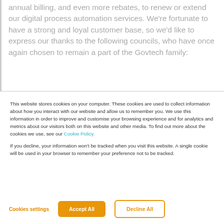annual billing, and even more rebates, to renew or extend our digital process automation services. We're fortunate to have a strong and loyal customer base, so we'd like to express our thanks to the following councils, who have once again chosen to remain a part of the Govtech family:
This website stores cookies on your computer. These cookies are used to collect information about how you interact with our website and allow us to remember you. We use this information in order to improve and customise your browsing experience and for analytics and metrics about our visitors both on this website and other media. To find out more about the cookies we use, see our Cookie Policy.
If you decline, your information won't be tracked when you visit this website. A single cookie will be used in your browser to remember your preference not to be tracked.
Cookies settings
Accept All
Decline All